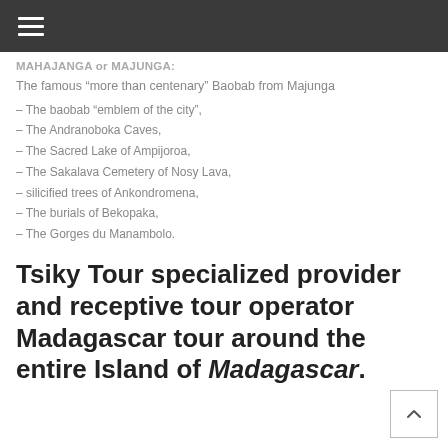≡
MAHAJANGA or MAJUNGA:
The famous “more than centenary” Baobab from Majunga
– The baobab “emblem of the city”,
– The Andranoboka Caves,
– The Sacred Lake of Ampijoroa,
– The Sakalava Cemetery of Nosy Lava,
– silicified trees of Ankondromena,
– The burials of Bekopaka,
– The Gorges du Manambolo.
Tsiky Tour specialized provider and receptive tour operator Madagascar tour around the entire Island of Madagascar.